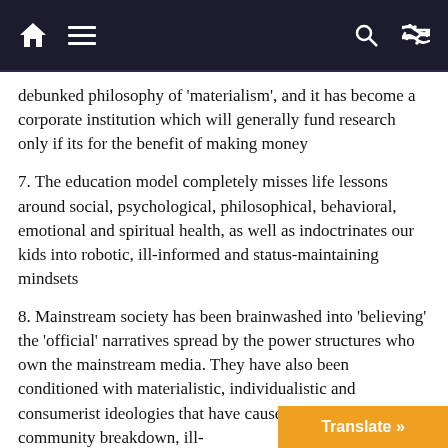Navigation bar with home, menu, search, and shuffle icons
debunked philosophy of 'materialism', and it has become a corporate institution which will generally fund research only if its for the benefit of making money
7. The education model completely misses life lessons around social, psychological, philosophical, behavioral, emotional and spiritual health, as well as indoctrinates our kids into robotic, ill-informed and status-maintaining mindsets
8. Mainstream society has been brainwashed into 'believing' the 'official' narratives spread by the power structures who own the mainstream media. They have also been conditioned with materialistic, individualistic and consumerist ideologies that have caused epidemics of community breakdown, ill- unhappiness and spiritual disconnection